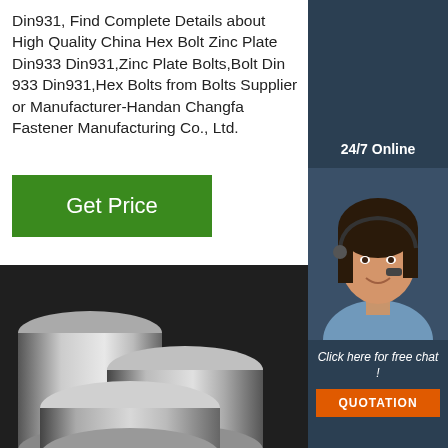Din931, Find Complete Details about High Quality China Hex Bolt Zinc Plate Din933 Din931,Zinc Plate Bolts,Bolt Din 933 Din931,Hex Bolts from Bolts Supplier or Manufacturer-Handan Changfa Fastener Manufacturing Co., Ltd.
Get Price
24/7 Online
[Figure (photo): Woman with headset smiling, customer service agent photo on dark blue background]
Click here for free chat !
QUOTATION
[Figure (photo): Silver metallic round rods/bolts on dark background]
TOP